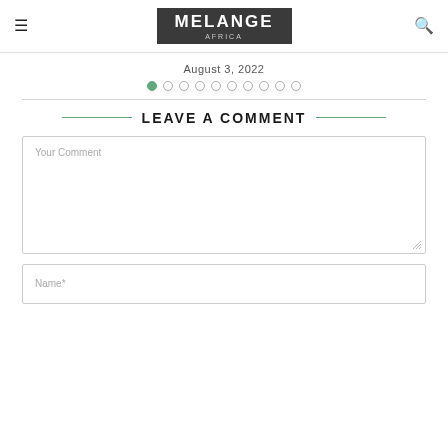MELANGE Africa
August 3, 2022
[Figure (other): Pagination dots: 10 circles, first one filled green, rest empty]
LEAVE A COMMENT
Your Comment
Name*